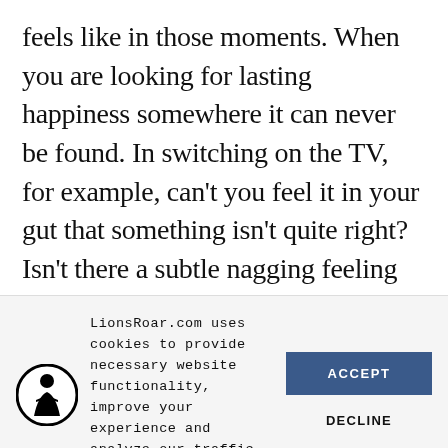feels like in those moments. When you are looking for lasting happiness somewhere it can never be found. In switching on the TV, for example, can't you feel it in your gut that something isn't quite right? Isn't there a subtle nagging feeling that perhaps you are looking in the wrong place for happiness? Well, that is your buddhanature
LionsRoar.com uses cookies to provide necessary website functionality, improve your experience and analyze our traffic. By using our website, you agree to our Privacy Policy and our cookies usage.
[Figure (logo): LionsRoar circular logo with silhouette of seated Buddha figure in black on white background with black circle border]
ACCEPT
DECLINE